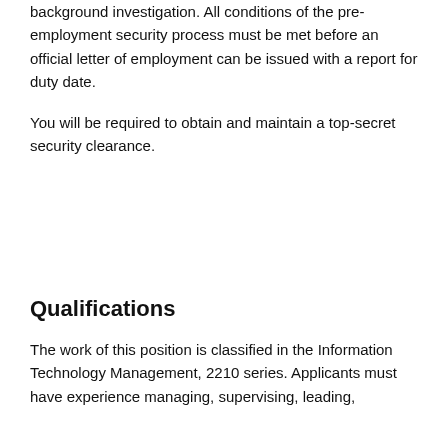background investigation. All conditions of the pre-employment security process must be met before an official letter of employment can be issued with a report for duty date.
You will be required to obtain and maintain a top-secret security clearance.
Qualifications
The work of this position is classified in the Information Technology Management, 2210 series. Applicants must have experience managing, supervising, leading,